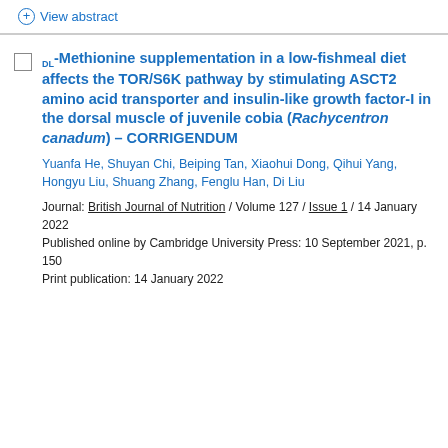+ View abstract
DL-Methionine supplementation in a low-fishmeal diet affects the TOR/S6K pathway by stimulating ASCT2 amino acid transporter and insulin-like growth factor-I in the dorsal muscle of juvenile cobia (Rachycentron canadum) – CORRIGENDUM
Yuanfa He, Shuyan Chi, Beiping Tan, Xiaohui Dong, Qihui Yang, Hongyu Liu, Shuang Zhang, Fenglu Han, Di Liu
Journal: British Journal of Nutrition / Volume 127 / Issue 1 / 14 January 2022
Published online by Cambridge University Press: 10 September 2021, p. 150
Print publication: 14 January 2022